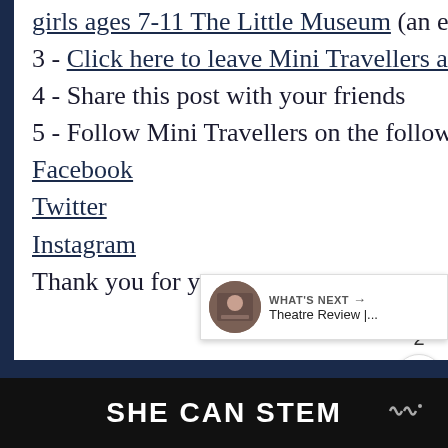girls ages 7-11 The Little Museum (an exciting adventure set in France)
3 - Click here to leave Mini Travellers a Google Review.
4 - Share this post with your friends
5 - Follow Mini Travellers on the following platforms :
Facebook
Twitter
Instagram
Thank you for your support as a...
[Figure (screenshot): What's Next widget showing Theatre Review thumbnail and label]
SHE CAN STEM